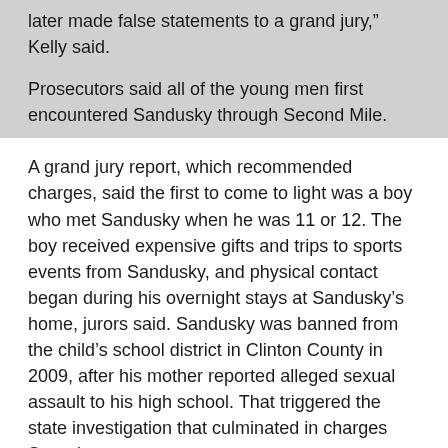later made false statements to a grand jury,” Kelly said.
Prosecutors said all of the young men first encountered Sandusky through Second Mile.
A grand jury report, which recommended charges, said the first to come to light was a boy who met Sandusky when he was 11 or 12. The boy received expensive gifts and trips to sports events from Sandusky, and physical contact began during his overnight stays at Sandusky’s home, jurors said. Sandusky was banned from the child’s school district in Clinton County in 2009, after his mother reported alleged sexual assault to his high school. That triggered the state investigation that culminated in charges Saturday.
Kelly said that seven years before that, in 2002, a graduate assistant saw Sandusky sexually assault a naked boy, estimated to be about 10 years old, in the locker room of the Lasch Football Building on campus. The grad student and his father reported what he saw to Paterno, who immediately told Curley, prosecutors said.